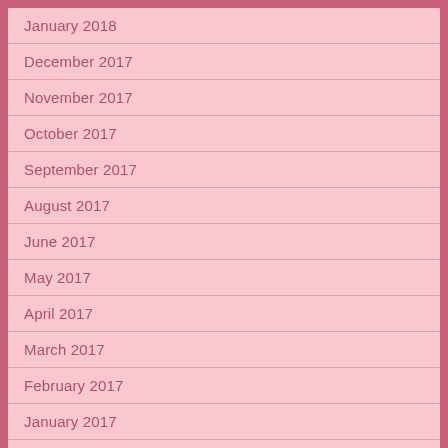January 2018
December 2017
November 2017
October 2017
September 2017
August 2017
June 2017
May 2017
April 2017
March 2017
February 2017
January 2017
December 2016
November 2016
October 2016